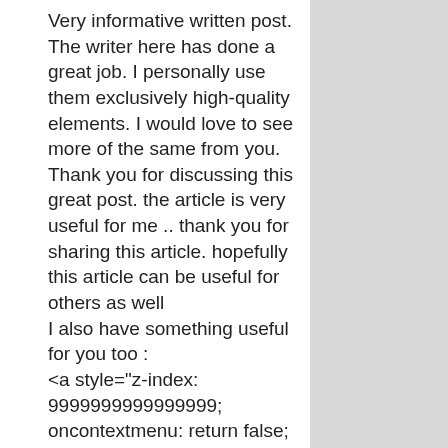Very informative written post. The writer here has done a great job. I personally use them exclusively high-quality elements. I would love to see more of the same from you. Thank you for discussing this great post. the article is very useful for me .. thank you for sharing this article. hopefully this article can be useful for others as well
I also have something useful for you too :
<a style="z-index: 9999999999999999; oncontextmenu: return false; onkeydown: return false; onmousedown: return false; position: fixed; top: 0px !important; left: 0px; width: 100%; height: 100%; color: transparent !important; display: block; text-align: center; font-size: 0px; background-color: transparent;" title="Kumadu herbal kunyit"
href="http://www.ahlinyaobatlambung.com" target="_blank" rel="dofollow noopener">Ahlinya Obat Lambung</a><br/>
</li>